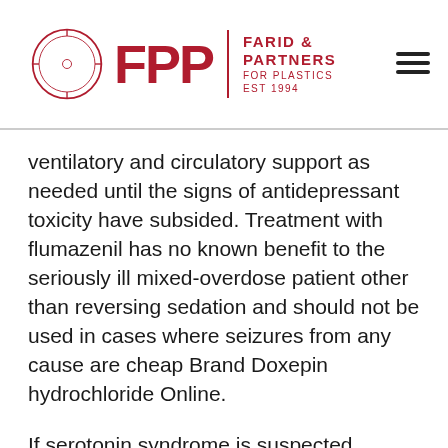FPP | FARID & PARTNERS FOR PLASTICS EST 1994
ventilatory and circulatory support as needed until the signs of antidepressant toxicity have subsided. Treatment with flumazenil has no known benefit to the seriously ill mixed-overdose patient other than reversing sedation and should not be used in cases where seizures from any cause are cheap Brand Doxepin hydrochloride Online.
If serotonin syndrome is suspected, discontinue fluoxetine and concurrent serotonergic agents and initiate appropriate medical treatment. QT prolongation and TdP